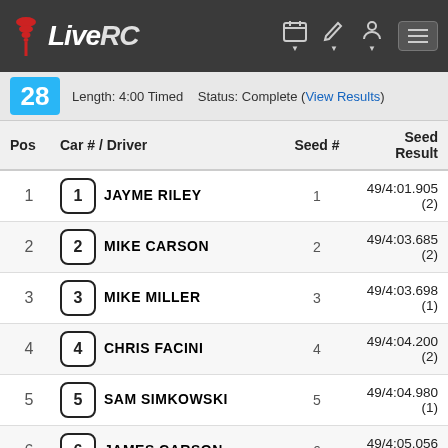LiveRC
28  Length: 4:00 Timed   Status: Complete (View Results)
| Pos | Car # / Driver | Seed # | Seed Result |
| --- | --- | --- | --- |
| 1 | 1  JAYME RILEY | 1 | 49/4:01.905 (2) |
| 2 | 2  MIKE CARSON | 2 | 49/4:03.685 (2) |
| 3 | 3  MIKE MILLER | 3 | 49/4:03.698 (1) |
| 4 | 4  CHRIS FACINI | 4 | 49/4:04.200 (2) |
| 5 | 5  SAM SIMKOWSKI | 5 | 49/4:04.980 (1) |
| 6 | 6  JAMES CARSON | 6 | 49/4:05.056 (1) |
| 7 | 7  TONY MANGOLD | 7 | 48/4:00.365 (2) |